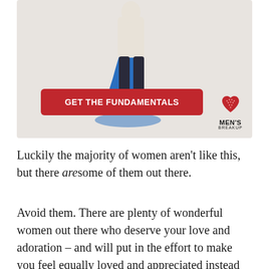[Figure (illustration): Advertisement image with light gray background showing a person walking away (seen from behind, wearing white top and dark jeans), casting a blue shadow silhouette. A red rounded-rectangle button reads 'GET THE FUNDAMENTALS'. Bottom-right has a Men's Breakup logo with a red heart icon.]
Luckily the majority of women aren't like this, but there are some of them out there.
Avoid them. There are plenty of wonderful women out there who deserve your love and adoration – and will put in the effort to make you feel equally loved and appreciated instead of just talking with no